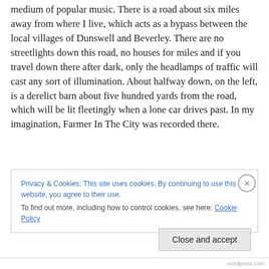city, is something that has no parallel in this far-reaching medium of popular music. There is a road about six miles away from where I live, which acts as a bypass between the local villages of Dunswell and Beverley. There are no streetlights down this road, no houses for miles and if you travel down there after dark, only the headlamps of traffic will cast any sort of illumination. About halfway down, on the left, is a derelict barn about five hundred yards from the road, which will be lit fleetingly when a lone car drives past. In my imagination, Farmer In The City was recorded there.
Privacy & Cookies: This site uses cookies. By continuing to use this website, you agree to their use.
To find out more, including how to control cookies, see here: Cookie Policy
Close and accept